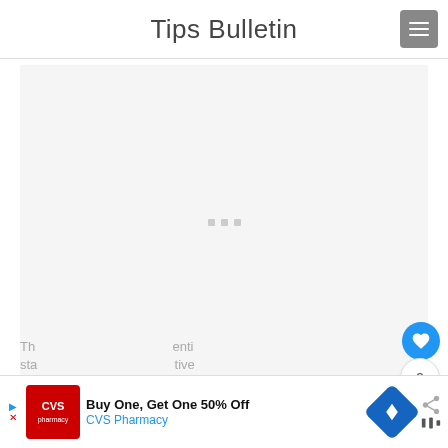Tips Bulletin
[Figure (screenshot): Loading ad placeholder area with three small grey squares in center indicating content loading]
[Figure (screenshot): CVS Pharmacy advertisement banner: Buy One, Get One 50% Off, CVS Pharmacy, with navigation arrow icon]
Th... enti... sta... tive